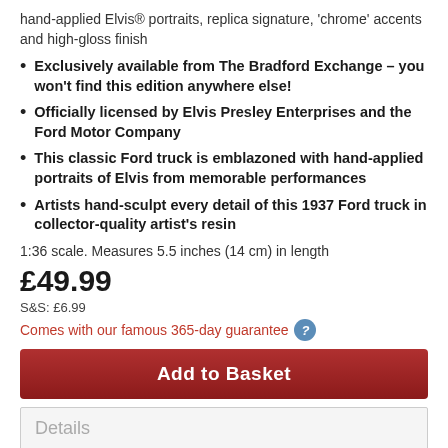hand-applied Elvis® portraits, replica signature, 'chrome' accents and high-gloss finish
Exclusively available from The Bradford Exchange – you won't find this edition anywhere else!
Officially licensed by Elvis Presley Enterprises and the Ford Motor Company
This classic Ford truck is emblazoned with hand-applied portraits of Elvis from memorable performances
Artists hand-sculpt every detail of this 1937 Ford truck in collector-quality artist's resin
1:36 scale. Measures 5.5 inches (14 cm) in length
£49.99
S&S: £6.99
Comes with our famous 365-day guarantee
Add to Basket
Details
A product is officially licensed and comes with a 365-day